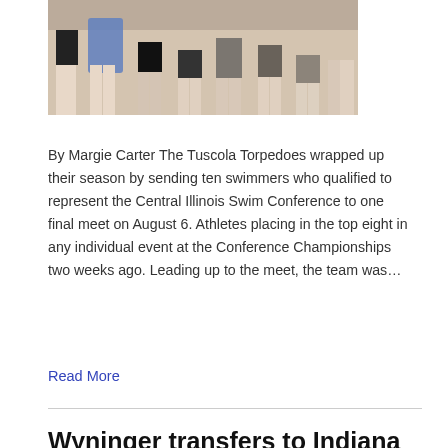[Figure (photo): Photo showing legs of swimmers standing together, one person holding a blue scarf/ribbon, taken outdoors on gravel]
By Margie Carter The Tuscola Torpedoes wrapped up their season by sending ten swimmers who qualified to represent the Central Illinois Swim Conference to one final meet on August 6. Athletes placing in the top eight in any individual event at the Conference Championships two weeks ago. Leading up to the meet, the team was…
Read More
Wyninger transfers to Indiana University/Purdue University-Columbus
August 9, 2022 | 0 💬